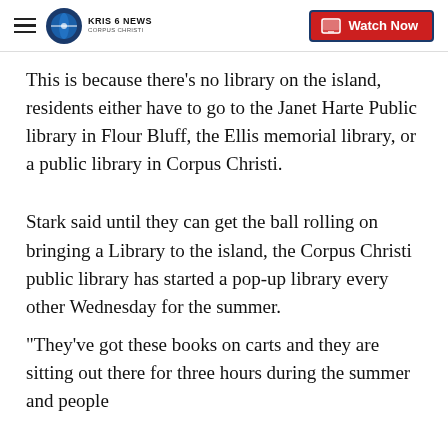KRIS 6 NEWS CORPUS CHRISTI | Watch Now
This is because there's no library on the island, residents either have to go to the Janet Harte Public library in Flour Bluff, the Ellis memorial library, or a public library in Corpus Christi.
Stark said until they can get the ball rolling on bringing a Library to the island, the Corpus Christi public library has started a pop-up library every other Wednesday for the summer.
"They've got these books on carts and they are sitting out there for three hours during the summer and people